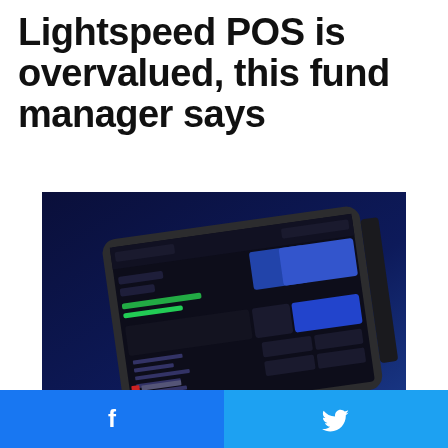Lightspeed POS is overvalued, this fund manager says
[Figure (screenshot): Lightspeed POS tablet interface showing dark-themed point-of-sale software with blue accent elements on an iPad device against a dark blue background]
[Figure (screenshot): Partially visible second image of Lightspeed POS device, cropped at bottom of page]